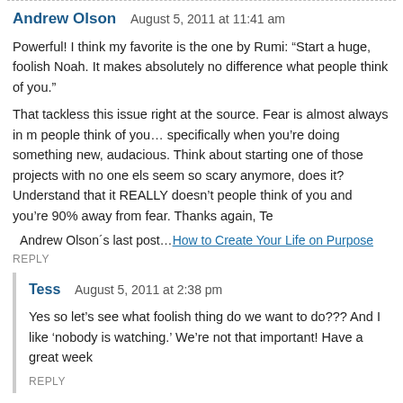Andrew Olson   August 5, 2011 at 11:41 am
Powerful! I think my favorite is the one by Rumi: “Start a huge, foolish Noah. It makes absolutely no difference what people think of you.”
That tackless this issue right at the source. Fear is almost always in m people think of you… specifically when you’re doing something new, audacious. Think about starting one of those projects with no one els seem so scary anymore, does it? Understand that it REALLY doesn’t people think of you and you’re 90% away from fear. Thanks again, Te
Andrew Olson´s last post… How to Create Your Life on Purpose
REPLY
Tess   August 5, 2011 at 2:38 pm
Yes so let’s see what foolish thing do we want to do??? And I like 'nobody is watching.' We’re not that important! Have a great week
REPLY